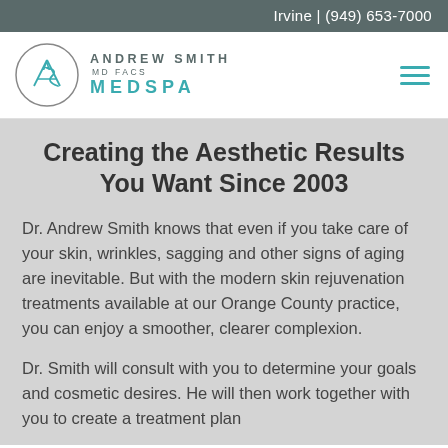Irvine | (949) 653-7000
[Figure (logo): Andrew Smith MD FACS MedSpa logo with circular monogram and teal MEDSPA text]
Creating the Aesthetic Results You Want Since 2003
Dr. Andrew Smith knows that even if you take care of your skin, wrinkles, sagging and other signs of aging are inevitable. But with the modern skin rejuvenation treatments available at our Orange County practice, you can enjoy a smoother, clearer complexion.
Dr. Smith will consult with you to determine your goals and cosmetic desires. He will then work together with you to create a treatment plan